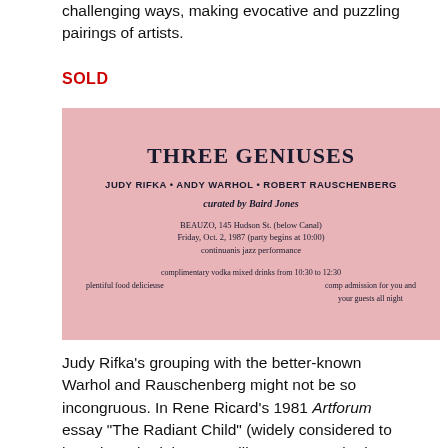challenging ways, making evocative and puzzling pairings of artists.
SOLD
[Figure (photo): Pink invitation card for 'THREE GENIUSES' featuring Judy Rifka, Andy Warhol, Robert Rauschenberg, curated by Baird Jones. Event at BEAUZO, 145 Hudson St. (below Canal), Friday Oct. 2, 1987 (party begins at 10:00), continuanis jazz performance. Complimentary vodka mixed drinks from 10:30 to 12:30, plentiful food delicieuse. Comp admission for you and your guests all night.]
Judy Rifka’s grouping with the better-known Warhol and Rauschenberg might not be so incongruous. In Rene Ricard’s 1981 Artforum essay “The Radiant Child” (widely considered to have launched the East Village art scene), she was a prominent figure along with Keith Haring and Jean-Michel Basquiat. 2016